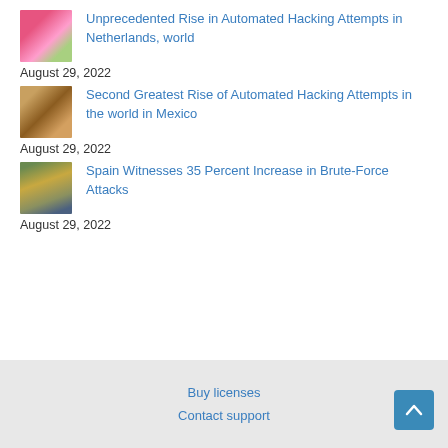Unprecedented Rise in Automated Hacking Attempts in Netherlands, world
August 29, 2022
Second Greatest Rise of Automated Hacking Attempts in the world in Mexico
August 29, 2022
Spain Witnesses 35 Percent Increase in Brute-Force Attacks
August 29, 2022
Buy licenses
Contact support